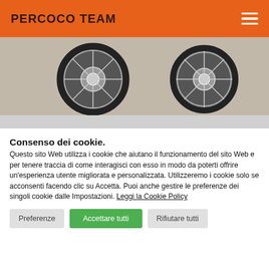PERCOCO TEAM
[Figure (photo): Motorcycle wheels photo showing two chrome spoke wheels on a floor]
Consenso dei cookie.
Questo sito Web utilizza i cookie che aiutano il funzionamento del sito Web e per tenere traccia di come interagisci con esso in modo da poterti offrire un'esperienza utente migliorata e personalizzata. Utilizzeremo i cookie solo se acconsenti facendo clic su Accetta. Puoi anche gestire le preferenze dei singoli cookie dalle Impostazioni. Leggi la Cookie Policy
Preferenze
Accettare tutti
Rifiutare tutti